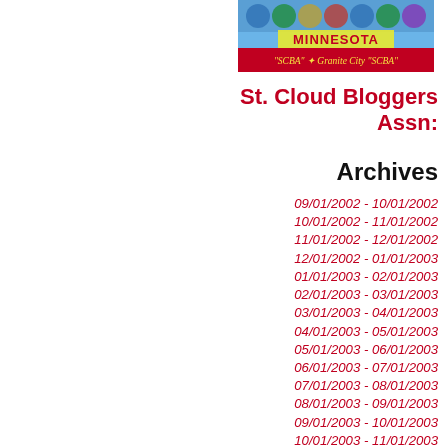[Figure (illustration): St. Cloud Bloggers Association logo/postcard image showing Minnesota postcard with 'SCBA' and 'Granite City' text]
St. Cloud Bloggers Assn:
Archives
09/01/2002 - 10/01/2002
10/01/2002 - 11/01/2002
11/01/2002 - 12/01/2002
12/01/2002 - 01/01/2003
01/01/2003 - 02/01/2003
02/01/2003 - 03/01/2003
03/01/2003 - 04/01/2003
04/01/2003 - 05/01/2003
05/01/2003 - 06/01/2003
06/01/2003 - 07/01/2003
07/01/2003 - 08/01/2003
08/01/2003 - 09/01/2003
09/01/2003 - 10/01/2003
10/01/2003 - 11/01/2003
11/01/2003 - 12/01/2003
12/01/2003 - 01/01/2004
01/01/2004 - 02/01/2004
02/01/2004 - 03/01/2004
03/01/2004 - 04/01/2004
04/01/2004 - 05/01/2004
05/01/2004 - 06/01/2004
06/01/2004 - 07/01/2004